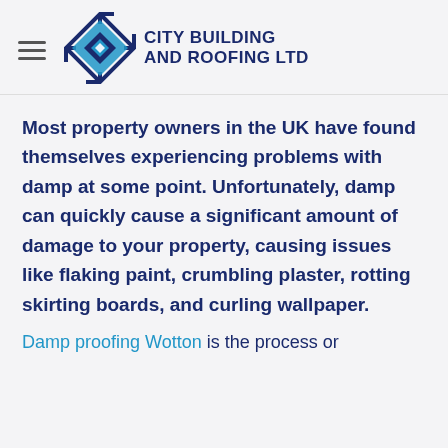CITY BUILDING AND ROOFING LTD
Most property owners in the UK have found themselves experiencing problems with damp at some point. Unfortunately, damp can quickly cause a significant amount of damage to your property, causing issues like flaking paint, crumbling plaster, rotting skirting boards, and curling wallpaper.
Damp proofing Wotton is the process or